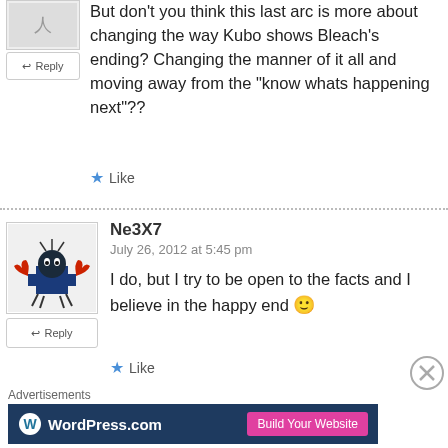But don't you think this last arc is more about changing the way Kubo shows Bleach's ending? Changing the manner of it all and moving away from the “know whats happening next”??
Like
Ne3X7
July 26, 2012 at 5:45 pm
I do, but I try to be open to the facts and I believe in the happy end 😀
Like
Advertisements
[Figure (other): WordPress.com advertisement banner with logo and 'Build Your Website' button]